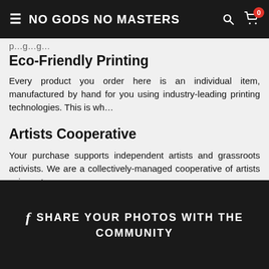NO GODS NO MASTERS
p...g...g...
Eco-Friendly Printing
Every product you order here is an individual item, manufactured by hand for you using industry-leading printing technologies. This is wh…
Artists Cooperative
Your purchase supports independent artists and grassroots activists. We are a collectively-managed cooperative of artists using art as a means…
SHARE YOUR PHOTOS WITH THE COMMUNITY